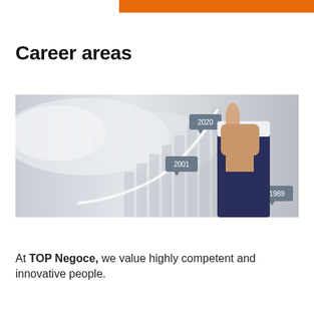Career areas
[Figure (photo): A hand in a business suit pointing upward at a glowing white curve graph rising steeply, with speech bubble labels marking years 1989, 2001, and 2020 along the ascending curve, set against a grey gradient background with vertical bar shapes.]
At TOP Negoce, we value highly competent and innovative people.